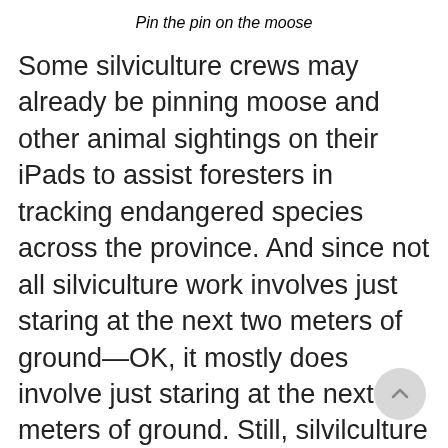Pin the pin on the moose
Some silviculture crews may already be pinning moose and other animal sightings on their iPads to assist foresters in tracking endangered species across the province. And since not all silviculture work involves just staring at the next two meters of ground—OK, it mostly does involve just staring at the next two meters of ground. Still, silvilculture workers aren't operating heavy equipment, or roostering with their dirt bikes, or generally disturbing the daylights out of their surroundings. So they can see more animals maybe. At any rate, our government has a new app they want the public to use to help track the moose